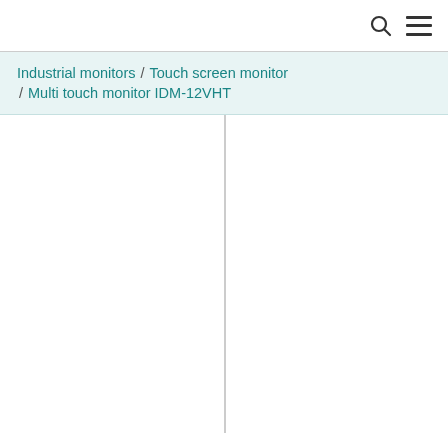Industrial monitors / Touch screen monitor / Multi touch monitor IDM-12VHT
[Figure (other): White content area with a vertical divider line splitting the page into left and right panels]